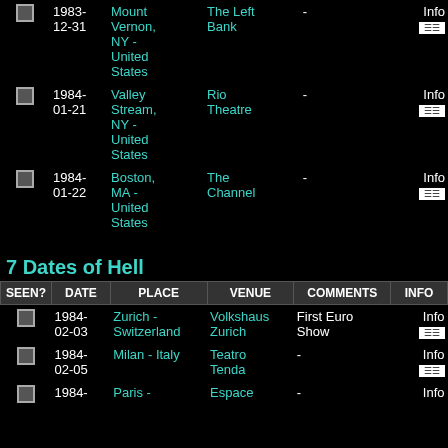| SEEN? | DATE | PLACE | VENUE | COMMENTS | INFO |
| --- | --- | --- | --- | --- | --- |
| ☐ | 1983-12-31 | Mount Vernon, NY - United States | The Left Bank | - | Info |
| ☐ | 1984-01-21 | Valley Stream, NY - United States | Rio Theatre | - | Info |
| ☐ | 1984-01-22 | Boston, MA - United States | The Channel | - | Info |
7 Dates of Hell
| SEEN? | DATE | PLACE | VENUE | COMMENTS | INFO |
| --- | --- | --- | --- | --- | --- |
| ☐ | 1984-02-03 | Zurich - Switzerland | Volkshaus Zurich | First Euro Show | Info |
| ☐ | 1984-02-05 | Milan - Italy | Teatro Tenda | - | Info |
| ☐ | 1984- | Paris - | Espace | - | Info |